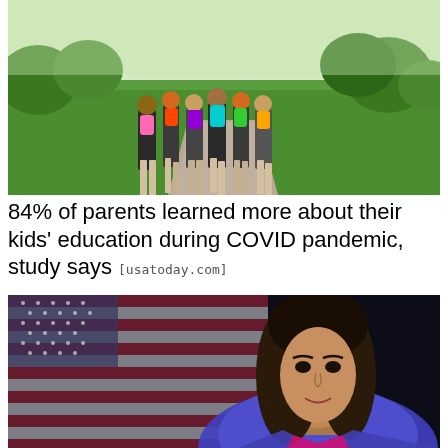[Figure (photo): Group of children walking with colorful backpacks on a path outdoors, surrounded by greenery]
84% of parents learned more about their kids' education during COVID pandemic, study says [usatoday.com]
[Figure (photo): Woman with brown hair in a blue jacket standing in front of an American flag, appears to be a politician or public figure]